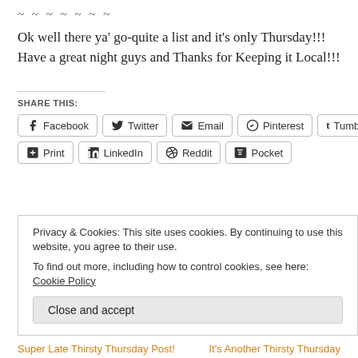~ ~ ~ ~ ~ ~ ~
Ok well there ya' go-quite a list and it's only Thursday!!! Have a great night guys and Thanks for Keeping it Local!!!
SHARE THIS:
Facebook | Twitter | Email | Pinterest | Tumblr | Print | LinkedIn | Reddit | Pocket
Privacy & Cookies: This site uses cookies. By continuing to use this website, you agree to their use. To find out more, including how to control cookies, see here: Cookie Policy
Close and accept
Super Late Thirsty Thursday Post!  It's Another Thirsty Thursday